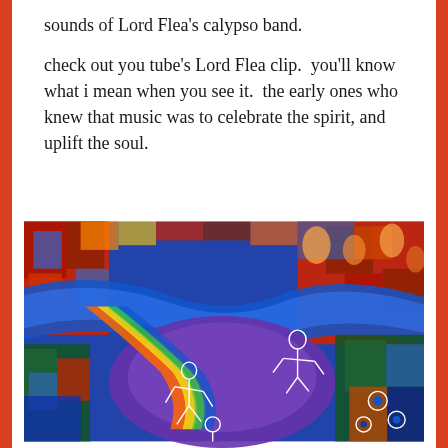sounds of Lord Flea's calypso band.
check out you tube's Lord Flea clip.  you'll know what i mean when you see it.  the early ones who knew that music was to celebrate the spirit, and uplift the soul.
[Figure (photo): Colorful psychedelic painting featuring swirling patterns in red, blue, green, purple, and yellow with skeletal or ghostly figures dancing amid abstract shapes and swirling bands of color.]